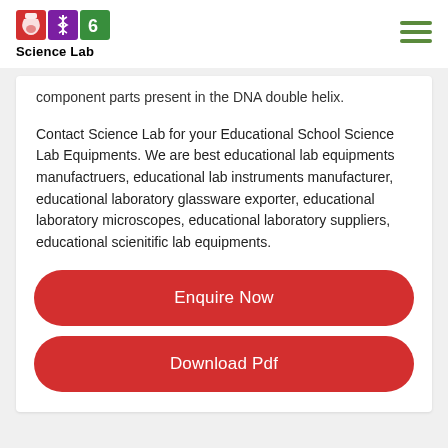Science Lab
component parts present in the DNA double helix.
Contact Science Lab for your Educational School Science Lab Equipments. We are best educational lab equipments manufactruers, educational lab instruments manufacturer, educational laboratory glassware exporter, educational laboratory microscopes, educational laboratory suppliers, educational scienitific lab equipments.
Enquire Now
Download Pdf